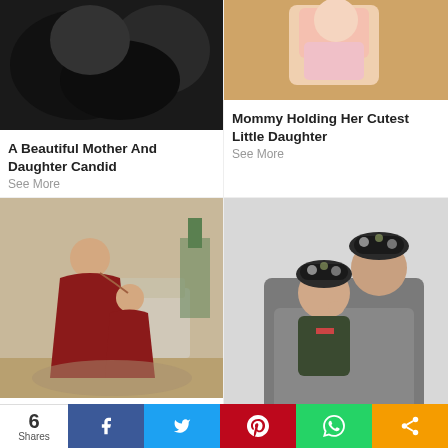[Figure (photo): Dark/black and white photo, top of left column]
A Beautiful Mother And Daughter Candid
See More
[Figure (photo): Baby girl in pink/peach outfit outdoors, top of right column]
Mommy Holding Her Cutest Little Daughter
See More
[Figure (photo): Mother and daughter in matching red dresses, daughter kissing mother]
Daughter Giving A Kiss To Her Mother
See More
[Figure (photo): Chic mother holding baby daughter, both wearing matching floral head wraps]
Chic Mother And Daughter
See More